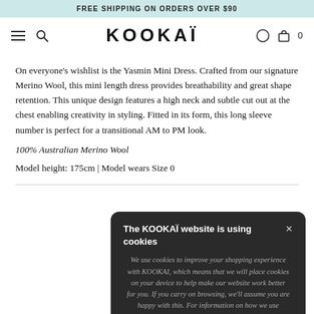FREE SHIPPING ON ORDERS OVER $90
[Figure (screenshot): KOOKAI website navigation bar with hamburger menu, search icon, KOOKAI logo, location pin icon, and shopping bag icon with 0 count]
On everyone's wishlist is the Yasmin Mini Dress. Crafted from our signature Merino Wool, this mini length dress provides breathability and great shape retention. This unique design features a high neck and subtle cut out at the chest enabling creativity in styling. Fitted in its form, this long sleeve number is perfect for a transitional AM to PM look.
100% Australian Merino Wool
Model height: 175cm | Model wears Size 0
The KOOKAÏ website is using cookies
We use cookies to improve your shopping experience with KOOKAI, which means that we will place cookies on your device to help make our website work better for you. If you carry on browsing, we'll assume you are happy with this. For information on how we use cookies
Continue